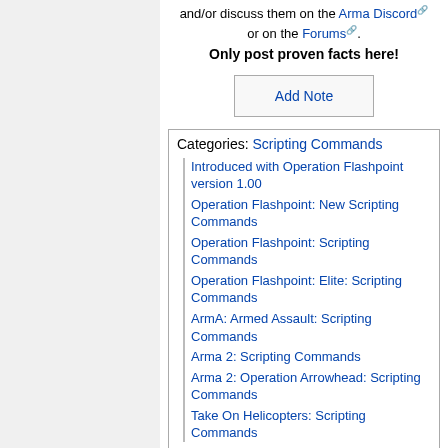and/or discuss them on the Arma Discord or on the Forums. Only post proven facts here!
Add Note
Categories: Scripting Commands
Introduced with Operation Flashpoint version 1.00
Operation Flashpoint: New Scripting Commands
Operation Flashpoint: Scripting Commands
Operation Flashpoint: Elite: Scripting Commands
ArmA: Armed Assault: Scripting Commands
Arma 2: Scripting Commands
Arma 2: Operation Arrowhead: Scripting Commands
Take On Helicopters: Scripting Commands